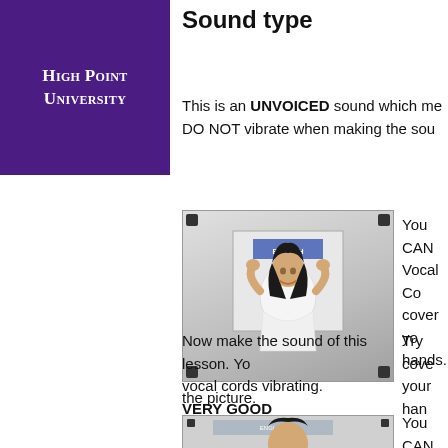[Figure (logo): High Point University logo — white text on purple background]
Sound type
This is an UNVOICED sound which me... DO NOT vibrate when making the sou...
[Figure (photo): Woman standing in front of a whiteboard with hands behind her head]
You CAN... Vocal Co... cover yo... hands.
Try cove... your han...
the picture.
Now make the sound of this lesson. Yo... vocal cords vibrating.
VERY GOOD
[Figure (photo): Woman standing in front of a whiteboard, partially cropped]
You CAN... Cords vi...